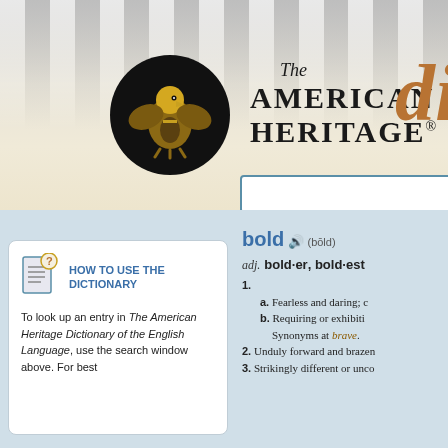[Figure (logo): The American Heritage Dictionary header with eagle logo, banner title, and partial 'di' in orange]
HOW TO USE THE DICTIONARY
To look up an entry in The American Heritage Dictionary of the English Language, use the search window above. For best
bold (bōld) adj. bold·er, bold·est 1. a. Fearless and daring; b. Requiring or exhibiting Synonyms at brave. 2. Unduly forward and brazen 3. Strikingly different or unco